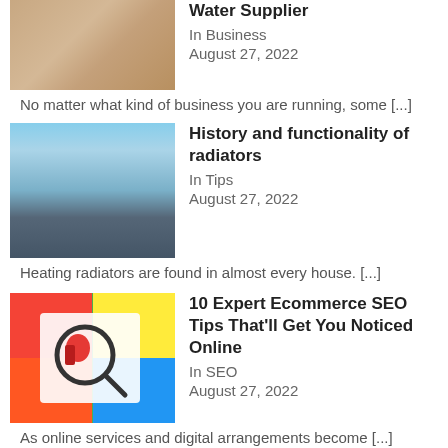[Figure (photo): Hands clasped together over a laptop on a wooden table]
Water Supplier
In Business
August 27, 2022
No matter what kind of business you are running, some [...]
[Figure (photo): Modern building exterior with glass windows and blue sky]
History and functionality of radiators
In Tips
August 27, 2022
Heating radiators are found in almost every house. [...]
[Figure (illustration): SEO illustration with magnifying glass, red figure, and colorful background]
10 Expert Ecommerce SEO Tips That'll Get You Noticed Online
In SEO
August 27, 2022
As online services and digital arrangements become [...]
Scroll to Top